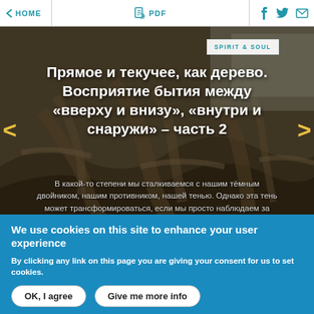< HOME | PDF | (social icons: Facebook, Twitter, Email)
[Figure (photo): Tree roots background photo with overlaid Russian text article preview for 'Spirit & Soul' section. Title: Прямое и текучее, как дерево. Восприятие бытия между «вверху и внизу», «внутри и снаружи» – часть 2. Subtitle excerpt: В какой-то степени мы сталкиваемся с нашим тёмным двойником, нашим противником, нашей тенью. Однако эта тень может трансформироваться, если мы просто наблюдаем за ней.... ещё]
We use cookies on this site to enhance your user experience
By clicking any link on this page you are giving your consent for us to set cookies.
OK, I agree | Give me more info